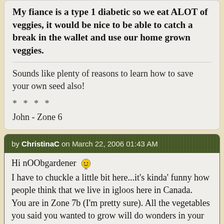My fiance is a type 1 diabetic so we eat ALOT of veggies, it would be nice to be able to catch a break in the wallet and use our home grown veggies.
Sounds like plenty of reasons to learn how to save your own seed also!
* * * *
John - Zone 6
by ChristinaC on March 22, 2006 01:43 AM
Hi nOObgardener
I have to chuckle a little bit here...it's kinda' funny how people think that we live in igloos here in Canada.
You are in Zone 7b (I'm pretty sure). All the vegetables you said you wanted to grow will do wonders in your zone!!! Now is the time to start from seed if you want..but it sounds like you're going to be busy with working, kids, moving, etc. You